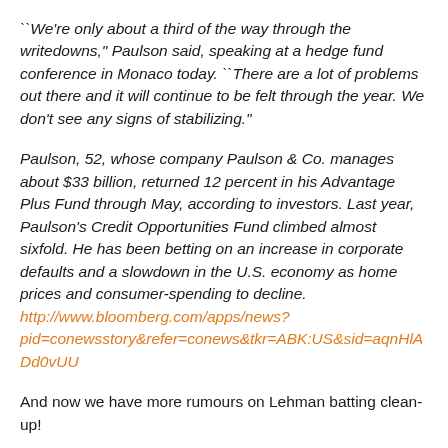``We're only about a third of the way through the writedowns," Paulson said, speaking at a hedge fund conference in Monaco today. ``There are a lot of problems out there and it will continue to be felt through the year. We don't see any signs of stabilizing."
Paulson, 52, whose company Paulson & Co. manages about $33 billion, returned 12 percent in his Advantage Plus Fund through May, according to investors. Last year, Paulson's Credit Opportunities Fund climbed almost sixfold. He has been betting on an increase in corporate defaults and a slowdown in the U.S. economy as home prices and consumer-spending to decline. http://www.bloomberg.com/apps/news?pid=conewsstory&refer=conews&tkr=ABK:US&sid=aqnHlADd0vUU
And now we have more rumours on Lehman batting clean-up!